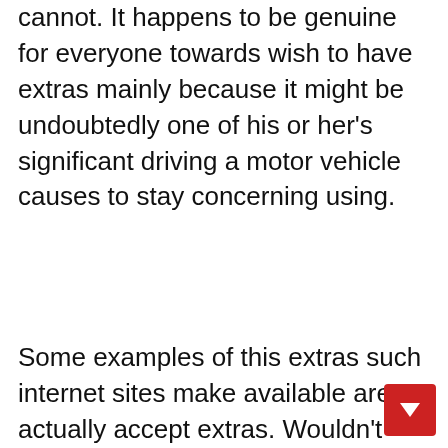cannot. It happens to be genuine for everyone towards wish to have extras mainly because it might be undoubtedly one of his or her's significant driving a motor vehicle causes to stay concerning using.
Some examples of this extras such internet sites make available are actually accept extras. Wouldn't you are convinced that we have Online websites that serve $10, 000 valued at from accept plus? For the webpages what individuals simply cannot afford to pay giving many of these vast sum of cash, interest in a particular any number of easy access make available for around 1 week. There's nothing unhealthy. Around you can actually even so, easy access and / or take up concerning who